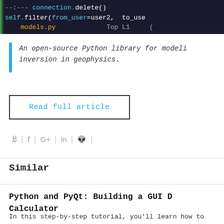[Figure (screenshot): Dark-themed code editor showing Python code with colored syntax highlighting: connection.delete() and self.filter(from_user=user2, to_user=...) with models.py and Top L1 labels]
An open-source Python library for modeling and inversion in geophysics.
Read full article
[Figure (other): Social sharing icons: Twitter, Facebook, Google+, LinkedIn, Reddit]
Similar
Python and PyQt: Building a GUI Desktop Calculator
In this step-by-step tutorial, you'll learn how to